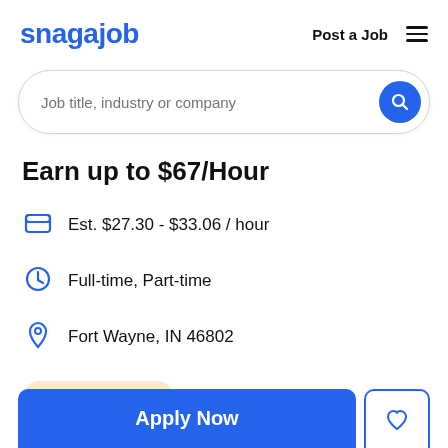snagajob | Post a Job
Job title, industry or company
Earn up to $67/Hour
Est. $27.30 - $33.06 / hour
Full-time, Part-time
Fort Wayne, IN 46802
Urgently Hiring
Apply Now